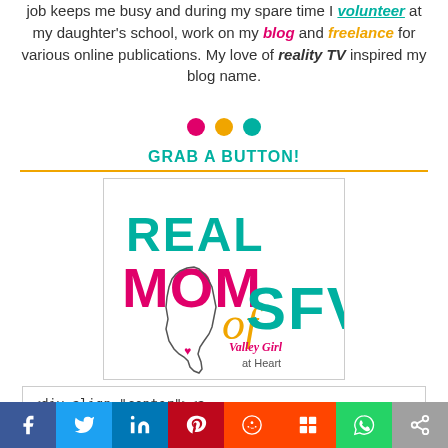job keeps me busy and during my spare time I volunteer at my daughter's school, work on my blog and freelance for various online publications. My love of reality TV inspired my blog name.
[Figure (illustration): Three decorative dots: pink, orange, teal]
GRAB A BUTTON!
[Figure (logo): Real Mom of SFV - Valley Girl at Heart logo with California state outline and heart]
<div align="center"><a
[Figure (other): Social sharing bar with Facebook, Twitter, LinkedIn, Pinterest, Reddit, Mix, WhatsApp, and Share buttons]